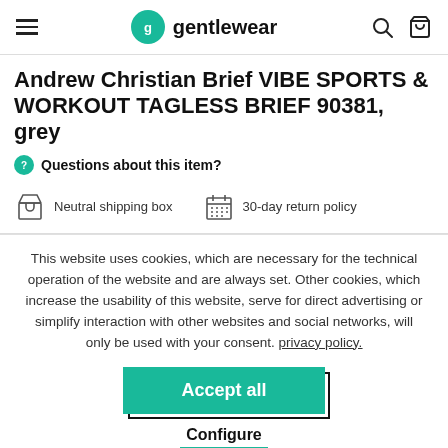gentlewear
Andrew Christian Brief VIBE SPORTS & WORKOUT TAGLESS BRIEF 90381, grey
Questions about this item?
Neutral shipping box    30-day return policy
This website uses cookies, which are necessary for the technical operation of the website and are always set. Other cookies, which increase the usability of this website, serve for direct advertising or simplify interaction with other websites and social networks, will only be used with your consent. privacy policy.
Accept all
Configure
Decline